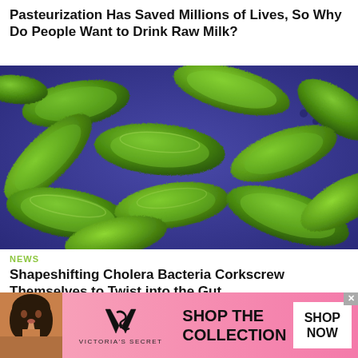Pasteurization Has Saved Millions of Lives, So Why Do People Want to Drink Raw Milk?
[Figure (photo): Colorized scanning electron microscope image of green rod-shaped bacteria on a blue background, likely depicting Vibrio cholerae or similar bacteria]
NEWS
Shapeshifting Cholera Bacteria Corkscrew Themselves to Twist into the Gut
[Figure (photo): Victoria's Secret advertisement banner with a woman's photo on the left, VS logo in the center, 'SHOP THE COLLECTION' text, and a 'SHOP NOW' white button on the right, on a pink background]